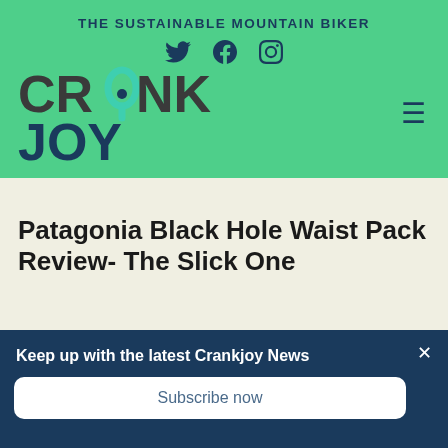THE SUSTAINABLE MOUNTAIN BIKER
[Figure (logo): Crankjoy logo with stylized text and pin/loop icon in teal and dark navy]
Patagonia Black Hole Waist Pack Review- The Slick One
We use cookies on our website to give you the most relevant experience by remembering your preferences and repeat visits. By clicking "Accept All", you consent to the use of ALL the cookies...
Keep up with the latest Crankjoy News
Subscribe now